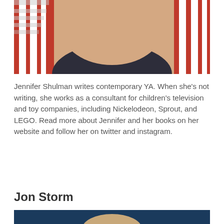[Figure (photo): Cropped photo of a person wearing a red and white striped top with a dark neckline, outdoors.]
Jennifer Shulman writes contemporary YA. When she's not writing, she works as a consultant for children's television and toy companies, including Nickelodeon, Sprout, and LEGO. Read more about Jennifer and her books on her website and follow her on twitter and instagram.
Jon Storm
[Figure (photo): Partial photo of Jon Storm, bottom portion of the page.]